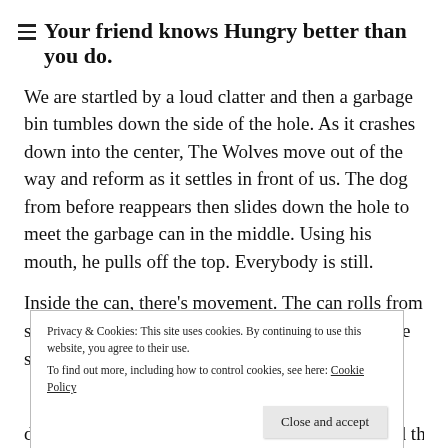Your friend knows Hungry better than you do.
We are startled by a loud clatter and then a garbage bin tumbles down the side of the hole. As it crashes down into the center, The Wolves move out of the way and reform as it settles in front of us. The dog from before reappears then slides down the hole to meet the garbage can in the middle. Using his mouth, he pulls off the top. Everybody is still.
Inside the can, there's movement. The can rolls from side to side, and then slowly, a cat emerges. It's the scrawniest
Privacy & Cookies: This site uses cookies. By continuing to use this website, you agree to their use.
To find out more, including how to control cookies, see here: Cookie Policy
doesn't make it far before The Wolves have closed the way